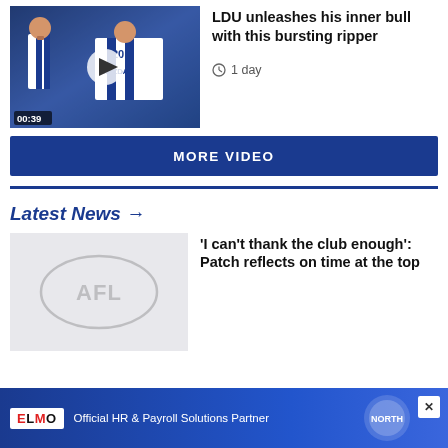[Figure (screenshot): Video thumbnail showing AFL players in blue and white North Melbourne jerseys (one wearing #20 with Mazda sponsor), with a play button overlay and 00:39 duration badge]
LDU unleashes his inner bull with this bursting ripper
1 day
MORE VIDEO
Latest News →
[Figure (logo): AFL logo watermark on grey background news thumbnail placeholder]
'I can't thank the club enough': Patch reflects on time at the top
ELMO Official HR & Payroll Solutions Partner